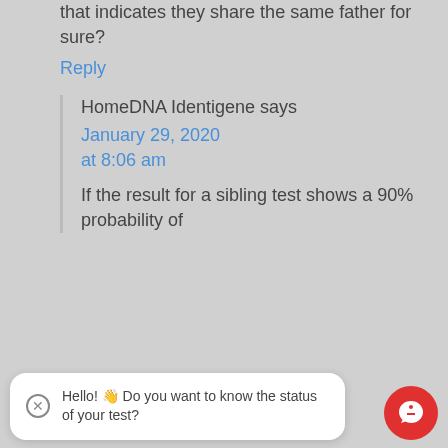that indicates they share the same father for sure?
Reply
HomeDNA Identigene says
January 29, 2020 at 8:06 am
If the result for a sibling test shows a 90% probability of
Hello! 👋 Do you want to know the status of your test?
considered